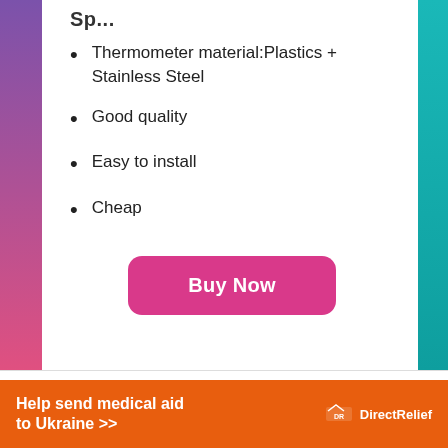Thermometer material:Plastics + Stainless Steel
Good quality
Easy to install
Cheap
Buy Now
Help send medical aid to Ukraine >>
DirectRelief